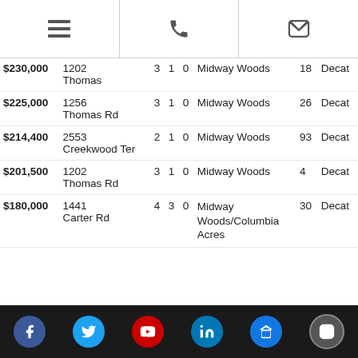[Figure (screenshot): Header with menu, phone, and email icons]
| Price | Address | Beds | Baths | Garage | Neighborhood | Days | City |
| --- | --- | --- | --- | --- | --- | --- | --- |
| $230,000 | 1202 Thomas | 3 | 1 | 0 | Midway Woods | 18 | Decat |
| $225,000 | 1256 Thomas Rd | 3 | 1 | 0 | Midway Woods | 26 | Decat |
| $214,400 | 2553 Creekwood Ter | 2 | 1 | 0 | Midway Woods | 93 | Decat |
| $201,500 | 1202 Thomas Rd | 3 | 1 | 0 | Midway Woods | 4 | Decat |
| $180,000 | 1441 Carter Rd | 4 | 3 | 0 | Midway Woods/Columbia Acres | 30 | Decat |
[Figure (infographic): Social media icon row: Facebook, Twitter, YouTube, LinkedIn, Zillow, Instagram]